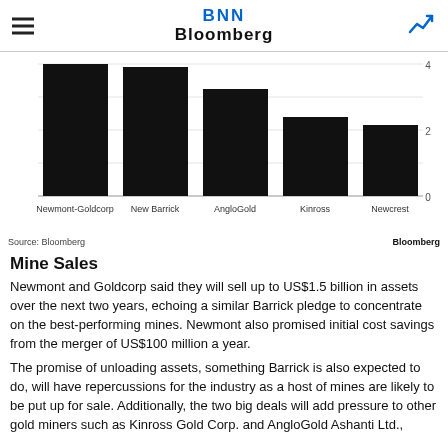BNN Bloomberg
[Figure (bar-chart): ]
Source: Bloomberg    Bloomberg
Mine Sales
Newmont and Goldcorp said they will sell up to US$1.5 billion in assets over the next two years, echoing a similar Barrick pledge to concentrate on the best-performing mines. Newmont also promised initial cost savings from the merger of US$100 million a year.
The promise of unloading assets, something Barrick is also expected to do, will have repercussions for the industry as a host of mines are likely to be put up for sale. Additionally, the two big deals will add pressure to other gold miners such as Kinross Gold Corp. and AngloGold Ashanti Ltd.,